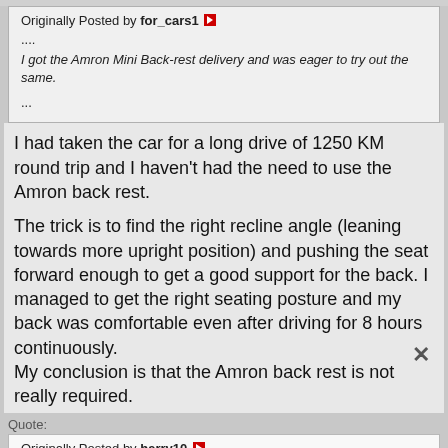Originally Posted by for_cars1
....
I got the Amron Mini Back-rest delivery and was eager to try out the same.
...
I had taken the car for a long drive of 1250 KM round trip and I haven't had the need to use the Amron back rest.
The trick is to find the right recline angle (leaning towards more upright position) and pushing the seat forward enough to get a good support for the back. I managed to get the right seating posture and my back was comfortable even after driving for 8 hours continuously.
My conclusion is that the Amron back rest is not really required.
Quote:
Originally Posted by harry10
Let me try to answer as per my experience so far-
1. I got stock tyres as Michelin so didn't go for any upgrade... If